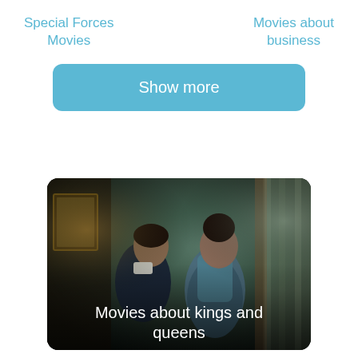Special Forces Movies
Movies about business
Show more
[Figure (photo): A period drama scene showing two women in historical costumes in an ornate room. Text overlay reads 'Movies about kings and queens'.]
Movies about kings and queens